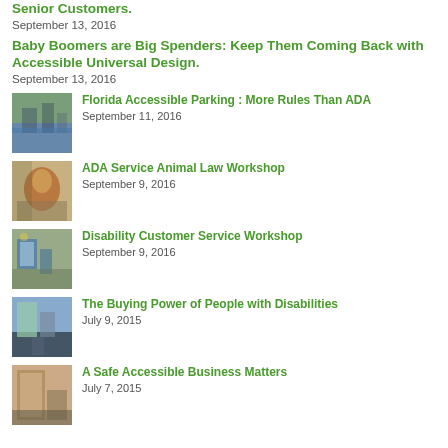Senior Customers.
September 13, 2016
Baby Boomers are Big Spenders: Keep Them Coming Back with Accessible Universal Design.
September 13, 2016
Florida Accessible Parking : More Rules Than ADA
September 11, 2016
ADA Service Animal Law Workshop
September 9, 2016
Disability Customer Service Workshop
September 9, 2016
The Buying Power of People with Disabilities
July 9, 2015
A Safe Accessible Business Matters
July 7, 2015